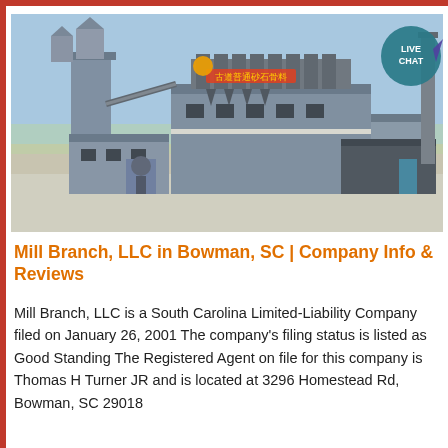[Figure (photo): Aerial or elevated view of an industrial grain mill or processing plant facility with large machinery, conveyors, silos, and a tall smokestack, set on a concrete lot under a blue sky.]
Mill Branch, LLC in Bowman, SC | Company Info & Reviews
Mill Branch, LLC is a South Carolina Limited-Liability Company filed on January 26, 2001 The company's filing status is listed as Good Standing The Registered Agent on file for this company is Thomas H Turner JR and is located at 3296 Homestead Rd, Bowman, SC 29018